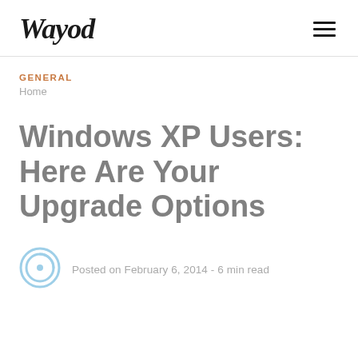Wayod
GENERAL
Home
Windows XP Users: Here Are Your Upgrade Options
Posted on February 6, 2014 -  6 min read